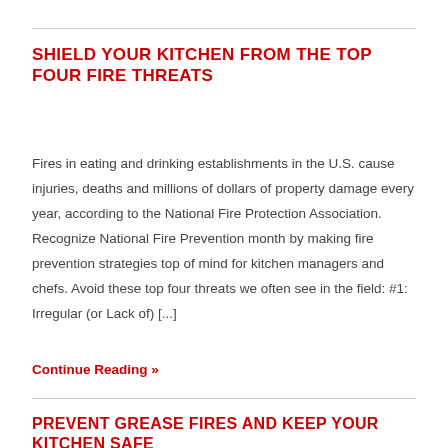SHIELD YOUR KITCHEN FROM THE TOP FOUR FIRE THREATS
Fires in eating and drinking establishments in the U.S. cause injuries, deaths and millions of dollars of property damage every year, according to the National Fire Protection Association. Recognize National Fire Prevention month by making fire prevention strategies top of mind for kitchen managers and chefs. Avoid these top four threats we often see in the field: #1: Irregular (or Lack of) [...]
Continue Reading »
PREVENT GREASE FIRES AND KEEP YOUR KITCHEN SAFE